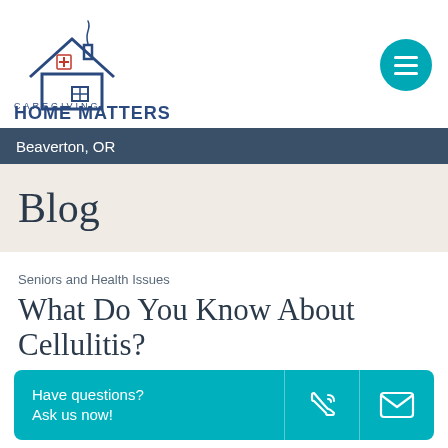[Figure (logo): Home Matters Caregiving logo with house icon and red cross]
Beaverton, OR
Blog
Seniors and Health Issues
What Do You Know About Cellulitis?
March 7, 2022
Have questions? Ask us now!